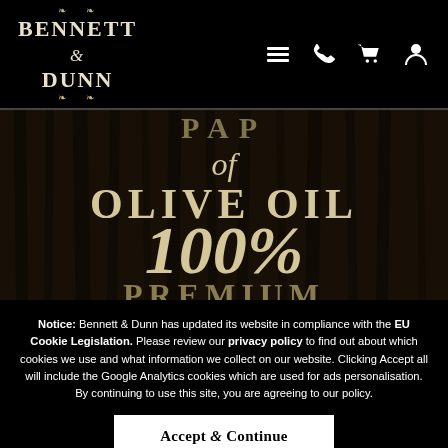BENNETT & DUNN — navigation header with logo and icons (menu, phone, cart, account)
[Figure (illustration): Dark wood-textured hero banner showing text: 'PAP of OLIVE OIL 100% PREMIUM' in cream/gold serif lettering on a dark background]
Notice: Bennett & Dunn has updated its website in compliance with the EU Cookie Legislation. Please review our privacy policy to find out about which cookies we use and what information we collect on our website. Clicking Accept all will include the Google Analytics cookies which are used for ads personalisation. By continuing to use this site, you are agreeing to our policy.
Accept All & Continue
Review & Change